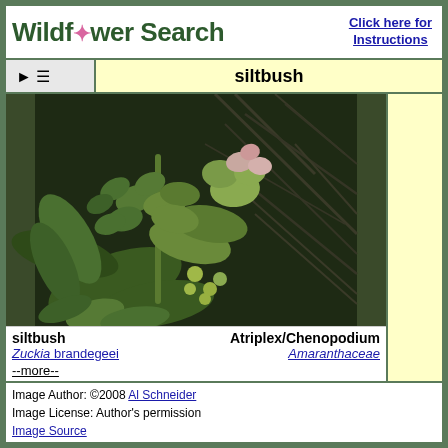Wildflower Search | Click here for Instructions
siltbush
[Figure (photo): Close-up photograph of siltbush (Zuckia brandegeei) plant showing green fleshy leaves and small yellow-green and pink flowers against a dark background of twigs]
siltbush   Atriplex/Chenopodium
Zuckia brandegeei   Amaranthaceae
--more--
Image Author: ©2008 Al Schneider
Image License: Author's permission
Image Source